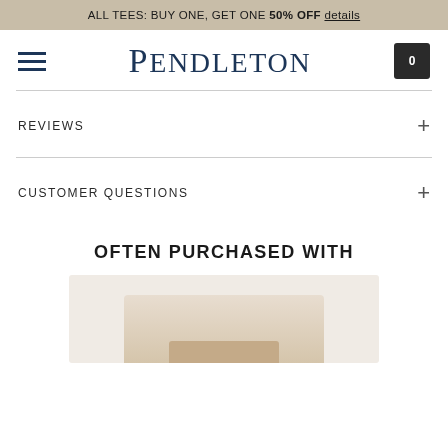ALL TEES: BUY ONE, GET ONE 50% OFF details
[Figure (logo): Pendleton brand logo with hamburger menu icon on left and cart icon with 0 items on right]
REVIEWS +
CUSTOMER QUESTIONS +
OFTEN PURCHASED WITH
[Figure (photo): Product image area showing a light-colored product on a beige/cream background]